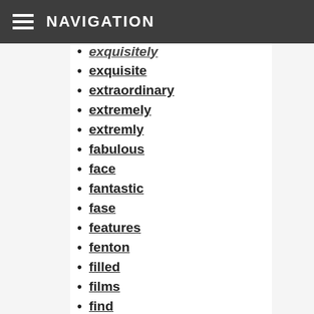NAVIGATION
exquisitely (partial, top)
exquisite
extraordinary
extremely
extremly
fabulous
face
fantastic
fase
features
fenton
filled
films
find
finds
fine
finest